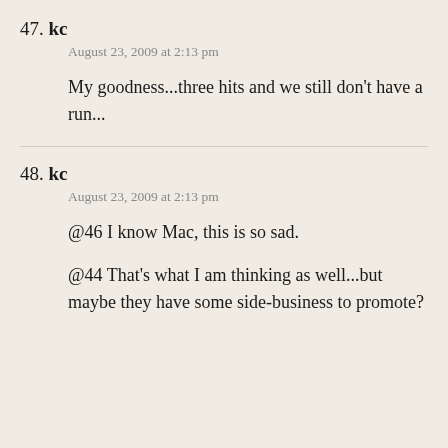47. kc
August 23, 2009 at 2:13 pm
My goodness...three hits and we still don't have a run...
48. kc
August 23, 2009 at 2:13 pm
@46 I know Mac, this is so sad.

@44 That's what I am thinking as well...but maybe they have some side-business to promote?